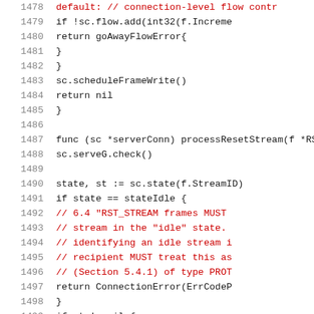[Figure (screenshot): Source code snippet in Go language, lines 1478-1499, showing functions for connection-level flow control and processResetStream, with comments in red and code in dark/black monospace font on white background.]